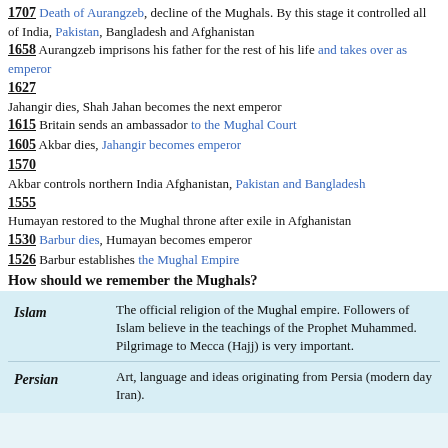1707 Death of Aurangzeb, decline of the Mughals. By this stage it controlled all of India, Pakistan, Bangladesh and Afghanistan
1658 Aurangzeb imprisons his father for the rest of his life and takes over as emperor
1627
Jahangir dies, Shah Jahan becomes the next emperor
1615 Britain sends an ambassador to the Mughal Court
1605 Akbar dies, Jahangir becomes emperor
1570
Akbar controls northern India Afghanistan, Pakistan and Bangladesh
1555
Humayan restored to the Mughal throne after exile in Afghanistan
1530 Barbur dies, Humayan becomes emperor
1526 Barbur establishes the Mughal Empire
How should we remember the Mughals?
| Term | Definition |
| --- | --- |
| Islam | The official religion of the Mughal empire. Followers of Islam believe in the teachings of the Prophet Muhammed. Pilgrimage to Mecca (Hajj) is very important. |
| Persian | Art, language and ideas originating from Persia (modern day Iran). |